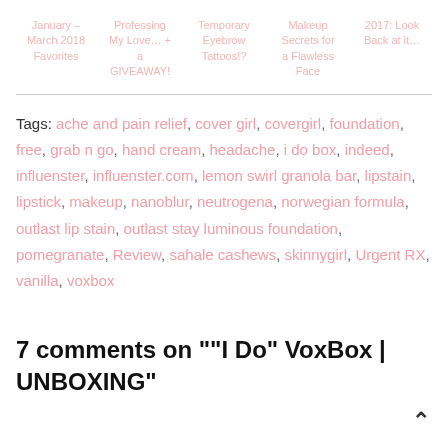January – March 2018 Favorites | Professing My Love… + a GIVEAWAY! | Temporary Eyebrow Tattoos!? | Makeup Secrets for a Flawless Face | 2017: Look Back at it…
Tags: ache and pain relief, cover girl, covergirl, foundation, free, grab n go, hand cream, headache, i do box, indeed, influenster, influenster.com, lemon swirl granola bar, lipstain, lipstick, makeup, nanoblur, neutrogena, norwegian formula, outlast lip stain, outlast stay luminous foundation, pomegranate, Review, sahale cashews, skinnygirl, Urgent RX, vanilla, voxbox
7 comments on "“I Do” VoxBox | UNBOXING"